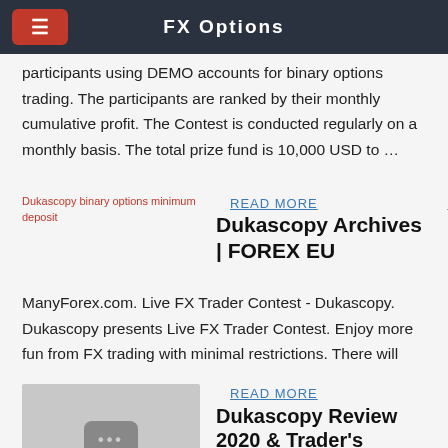FX Options
participants using DEMO accounts for binary options trading. The participants are ranked by their monthly cumulative profit. The Contest is conducted regularly on a monthly basis. The total prize fund is 10,000 USD to …
[Figure (photo): Dukascopy binary options minimum deposit (broken image)]
READ MORE
Dukascopy Archives | FOREX EU
ManyForex.com. Live FX Trader Contest - Dukascopy. Dukascopy presents Live FX Trader Contest. Enjoy more fun from FX trading with minimal restrictions. There will
[Figure (photo): Video thumbnail with three dots icon on gray background]
READ MORE
Dukascopy Review 2020 & Trader's Ratings | Things to know